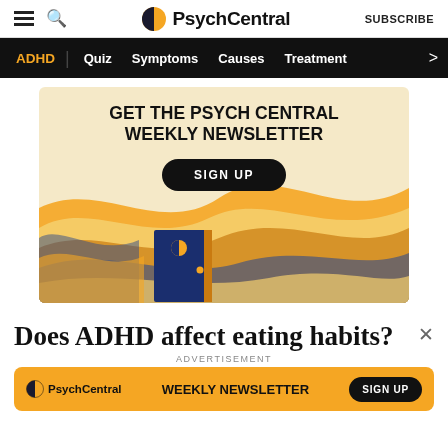PsychCentral — SUBSCRIBE
[Figure (screenshot): PsychCentral website navigation bar with hamburger menu, search icon, PsychCentral logo, and SUBSCRIBE link]
[Figure (infographic): Black navigation bar with ADHD (highlighted yellow), Quiz, Symptoms, Causes, Treatment menu items and right arrow]
[Figure (illustration): Newsletter advertisement banner with wavy orange/yellow/blue illustration and open door graphic. Text: GET THE PSYCH CENTRAL WEEKLY NEWSLETTER with SIGN UP button]
Does ADHD affect eating habits?
ADVERTISEMENT
[Figure (infographic): PsychCentral orange banner advertisement: PsychCentral logo, WEEKLY NEWSLETTER text, SIGN UP button]